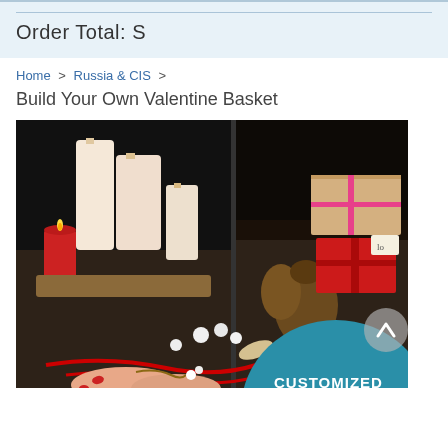Order Total: S
Home > Russia & CIS >
Build Your Own Valentine Basket
[Figure (photo): Photo of a Valentine's Day gift arrangement with candles (white and red), pinecone, wrapped kraft paper gift boxes with red ribbons, white small decorative pieces, and hands wrapping a gift with red ribbon. A teal circular badge at bottom right reads 'CUSTOMIZED'.]